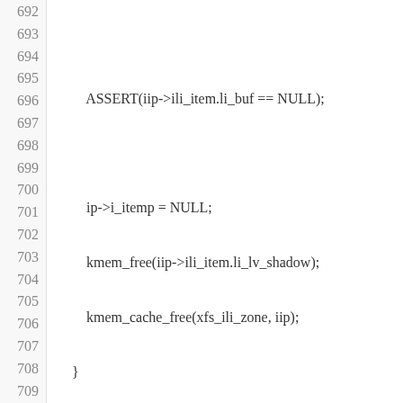[Figure (screenshot): Source code listing in C, lines 692-713, showing XFS inode flush and AIL update functions with syntax highlighting. Line numbers in gray on left, code in red/blue/dark on white background.]